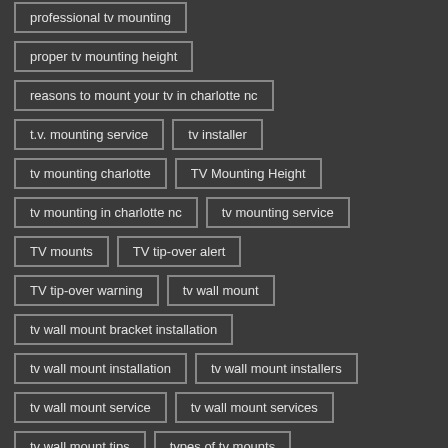professional tv mounting
proper tv mounting height
reasons to mount your tv in charlotte nc
t.v. mounting service
tv installer
tv mounting charlotte
TV Mounting Height
tv mounting in charlotte nc
tv mounting service
TV mounts
TV tip-over alert
TV tip-over warning
tv wall mount
tv wall mount bracket installation
tv wall mount installation
tv wall mount installers
tv wall mount service
tv wall mount services
tv wall mount tips
types of tv mounts